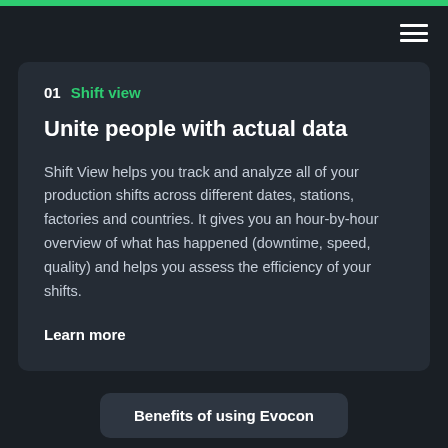01  Shift view
Unite people with actual data
Shift View helps you track and analyze all of your production shifts across different dates, stations, factories and countries. It gives you an hour-by-hour overview of what has happened (downtime, speed, quality) and helps you assess the efficiency of your shifts.
Learn more
Benefits of using Evocon